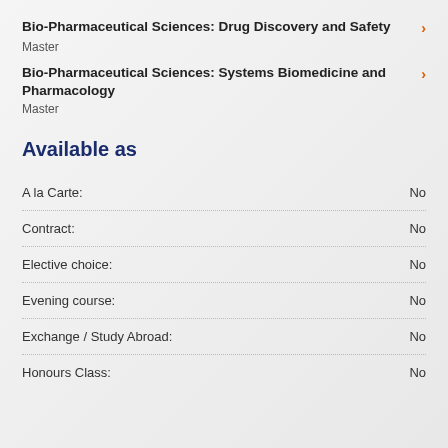Bio-Pharmaceutical Sciences: Drug Discovery and Safety
Master
Bio-Pharmaceutical Sciences: Systems Biomedicine and Pharmacology
Master
Available as
|  |  |
| --- | --- |
| A la Carte: | No |
| Contract: | No |
| Elective choice: | No |
| Evening course: | No |
| Exchange / Study Abroad: | No |
| Honours Class: | No |